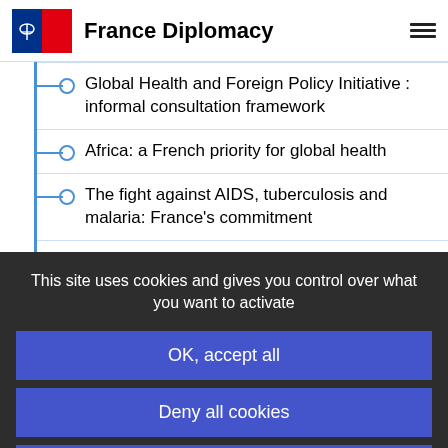France Diplomacy
Global Health and Foreign Policy Initiative : informal consultation framework
Africa: a French priority for global health
The fight against AIDS, tuberculosis and malaria: France's commitment
News
This site uses cookies and gives you control over what you want to activate
OK, accept all
Deny all cookies
Personalize
Privacy policy